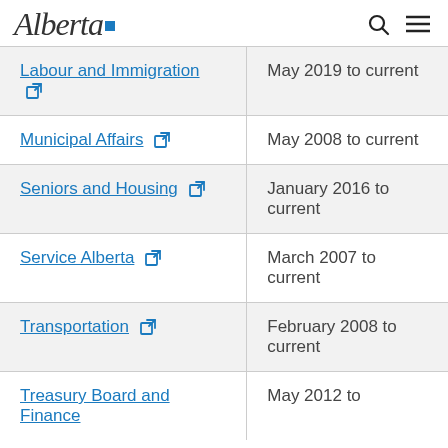Alberta [logo]
| Ministry | Date range |
| --- | --- |
| Labour and Immigration [external link] | May 2019 to current |
| Municipal Affairs [external link] | May 2008 to current |
| Seniors and Housing [external link] | January 2016 to current |
| Service Alberta [external link] | March 2007 to current |
| Transportation [external link] | February 2008 to current |
| Treasury Board and Finance [external link] | May 2012 to |